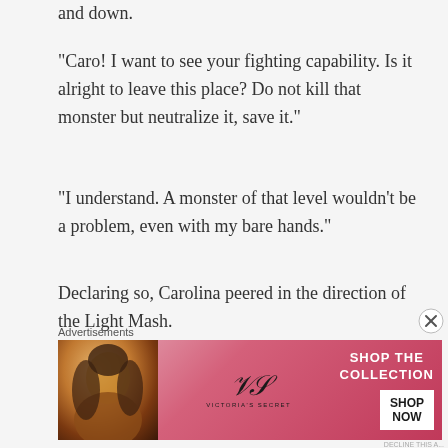and down.
“Caro! I want to see your fighting capability. Is it alright to leave this place? Do not kill that monster but neutralize it, save it.”
“I understand. A monster of that level wouldn’t be a problem, even with my bare hands.”
Declaring so, Carolina peered in the direction of the Light Mash.
The Light Mash was a mushroom shaped monster, with a full length of approximately 50 centimeters.
Advertisements
[Figure (photo): Victoria's Secret advertisement banner with a woman, VS logo, 'SHOP THE COLLECTION' text, and 'SHOP NOW' button on a pink/red gradient background.]